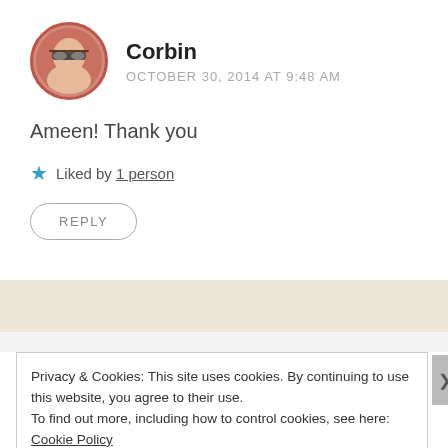[Figure (photo): Circular avatar photo of a woman with glasses, bordered with a reddish-orange ring]
Corbin
OCTOBER 30, 2014 AT 9:48 AM
Ameen! Thank you
★ Liked by 1 person
REPLY
Privacy & Cookies: This site uses cookies. By continuing to use this website, you agree to their use.
To find out more, including how to control cookies, see here: Cookie Policy
Close and accept